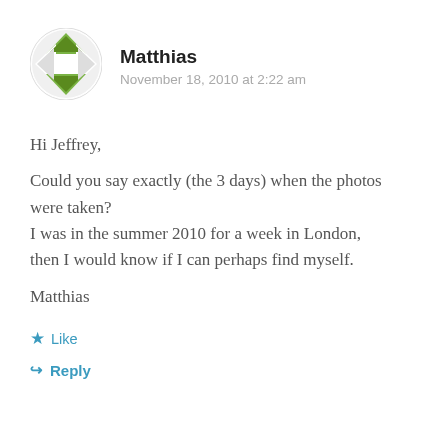[Figure (illustration): Circular avatar with green and white geometric diamond/chevron pattern on white background]
Matthias
November 18, 2010 at 2:22 am
Hi Jeffrey,

Could you say exactly (the 3 days) when the photos were taken?
I was in the summer 2010 for a week in London, then I would know if I can perhaps find myself.

Matthias
Like
Reply